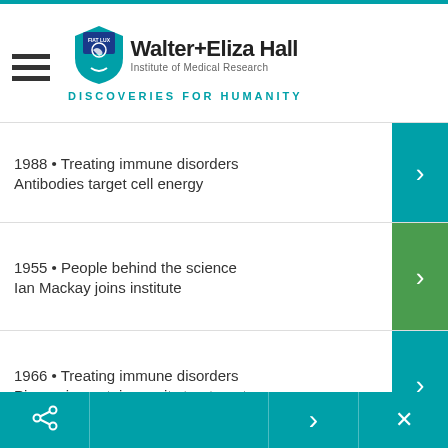[Figure (logo): Walter+Eliza Hall Institute of Medical Research logo with shield and 'DISCOVERIES FOR HUMANITY' tagline]
1988 • Treating immune disorders
Antibodies target cell energy
1955 • People behind the science
Ian Mackay joins institute
1966 • Treating immune disorders
Pioneering autoimmunity treatments
1973 • Treating immune disorders
Gastritis can be autoimmune or bacterial